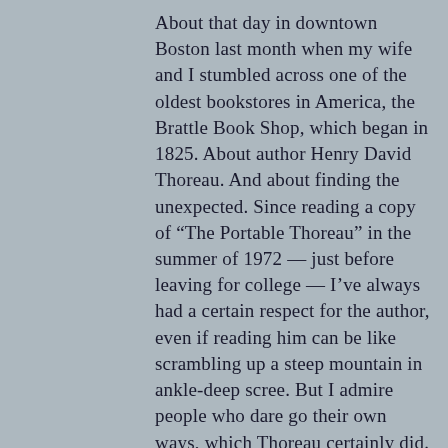About that day in downtown Boston last month when my wife and I stumbled across one of the oldest bookstores in America, the Brattle Book Shop, which began in 1825. About author Henry David Thoreau. And about finding the unexpected. Since reading a copy of “The Portable Thoreau” in the summer of 1972 — just before leaving for college — I’ve always had a certain respect for the author, even if reading him can be like scrambling up a steep mountain in ankle-deep scree. But I admire people who dare go their own ways, which Thoreau certainly did. “If a man does not keep pace with his companions,” he famously wrote, “perhaps it is because he hears a different drummer.” In 1845 to 1847, his 27-month stay at the Walden Pond cabin he built was only one of